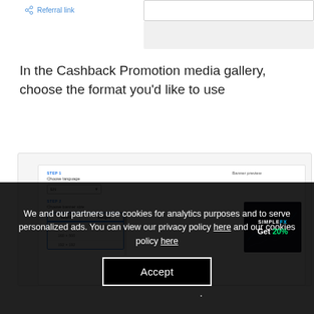Referral link
In the Cashback Promotion media gallery, choose the format you'd like to use
[Figure (screenshot): Screenshot of a UI showing STEP 1 Choose language with EN dropdown, STEP 2 Choose banner size with a table of Width and Height options (120×600, 160×500, 192×192), a scrollbar, Banner preview label, and a SimpleFX Get 20% banner thumbnail.]
We and our partners use cookies for analytics purposes and to serve personalized ads. You can view our privacy policy here and our cookies policy here
Accept